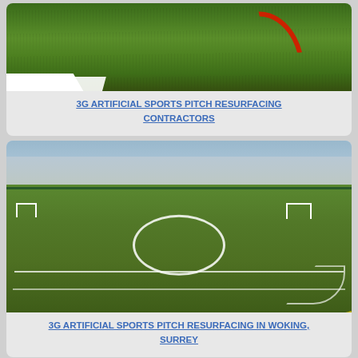[Figure (photo): Close-up photo of green artificial turf (3G sports pitch) with a curved red line marking and white line at the bottom edge.]
3G ARTIFICIAL SPORTS PITCH RESURFACING CONTRACTORS
[Figure (photo): Photo of a 3G artificial sports pitch with white line markings, a centre circle, goal posts, and surrounding green fence. Residential houses visible in the background. Yellow line markings also visible.]
3G ARTIFICIAL SPORTS PITCH RESURFACING IN WOKING, SURREY